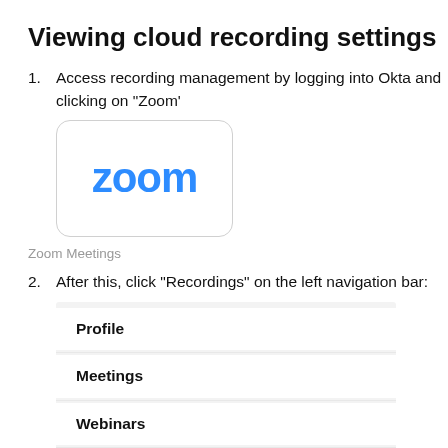Viewing cloud recording settings
Access recording management by logging into Okta and clicking on "Zoom'
[Figure (screenshot): Zoom app icon card with blue Zoom logo and label 'Zoom Meetings' below]
Zoom Meetings
After this, click "Recordings" on the left navigation bar:
[Figure (screenshot): Left navigation bar showing menu items: Profile, Meetings, Webinars, Personal Audio Conference (highlighted in blue)]